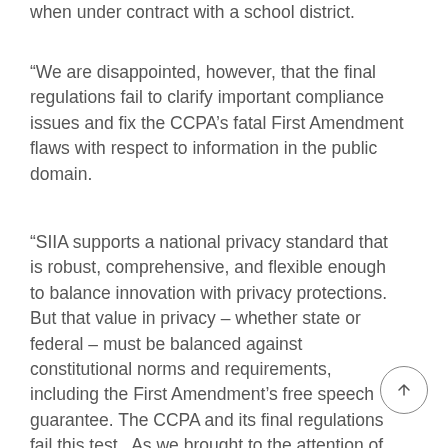when under contract with a school district.
“We are disappointed, however, that the final regulations fail to clarify important compliance issues and fix the CCPA’s fatal First Amendment flaws with respect to information in the public domain.
“SIIA supports a national privacy standard that is robust, comprehensive, and flexible enough to balance innovation with privacy protections. But that value in privacy – whether state or federal – must be balanced against constitutional norms and requirements, including the First Amendment’s free speech guarantee. The CCPA and its final regulations fail this test. As we brought to the attention of the California legislature and the Attorney General in multiple comments, the CCPA’s blanket regulation of non-governmentally sourced publicly available